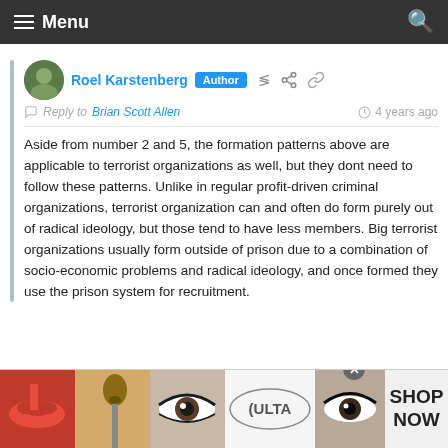Menu
Roel Karstenberg  Author   Reply to Brian Scott Allen   4 years ago
Aside from number 2 and 5, the formation patterns above are applicable to terrorist organizations as well, but they dont need to follow these patterns. Unlike in regular profit-driven criminal organizations, terrorist organization can and often do form purely out of radical ideology, but those tend to have less members. Big terrorist organizations usually form outside of prison due to a combination of socio-economic problems and radical ideology, and once formed they use the prison system for recruitment.
[Figure (photo): Advertisement banner for Ulta Beauty featuring makeup product images including lips, brush, eyes, and an Ulta logo with 'SHOP NOW' call to action]